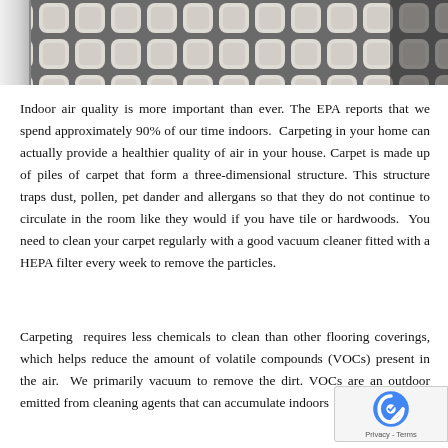[Figure (photo): Overhead view of geometric patterned tile floor (white/cream tiles with dark grey grout in a ogee/quatrefoil pattern), with a white door visible at the left edge]
Indoor air quality is more important than ever. The EPA reports that we spend approximately 90% of our time indoors.  Carpeting in your home can actually provide a healthier quality of air in your house. Carpet is made up of piles of carpet that form a three-dimensional structure. This structure traps dust, pollen, pet dander and allergans so that they do not continue to circulate in the room like they would if you have tile or hardwoods.  You need to clean your carpet regularly with a good vacuum cleaner fitted with a HEPA filter every week to remove the particles.
Carpeting  requires less chemicals to clean than other flooring coverings, which helps reduce the amount of volatile compounds (VOCs) present in the air.  We primarily vacuum to remove the dirt. VOCs are an outdoor emitted from cleaning agents that can accumulate indoors